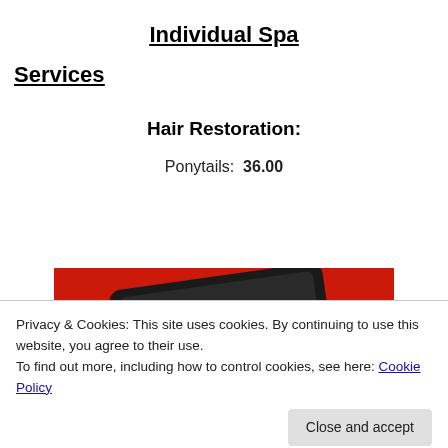Individual Spa
Services
Hair Restoration:
Ponytails:  36.00
[Figure (photo): Photo of a red smartphone/device with dark screen showing playback controls (pause button and other icons) against a red background.]
Privacy & Cookies: This site uses cookies. By continuing to use this website, you agree to their use.
To find out more, including how to control cookies, see here: Cookie Policy
Close and accept